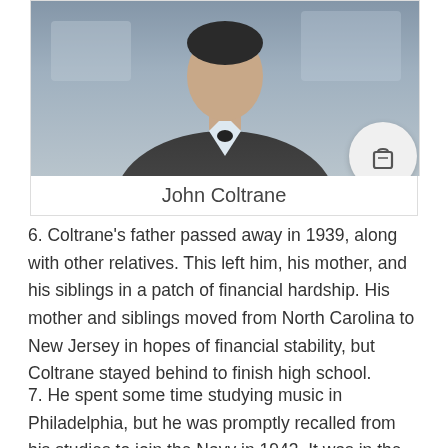[Figure (photo): Portrait photo of John Coltrane, a man in a dark suit and light shirt, shown from the chest up. A shopping bag icon appears in a circular button overlay at the bottom right of the image.]
John Coltrane
6. Coltrane's father passed away in 1939, along with other relatives. This left him, his mother, and his siblings in a patch of financial hardship. His mother and siblings moved from North Carolina to New Jersey in hopes of financial stability, but Coltrane stayed behind to finish high school.
7. He spent some time studying music in Philadelphia, but he was promptly recalled from his studies to join the Navy in 1943. It was in the Navy's band where he first appeared on a